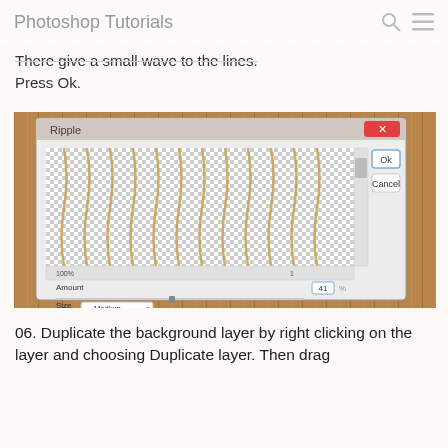Photoshop Tutorials
There give a small wave to the lines. Press Ok.
[Figure (screenshot): Photoshop Ripple dialog box showing wavy vertical lines on a transparent checkerboard background. The dialog has OK and Cancel buttons, an Amount field set to 41 with a slider, and a Size dropdown set to Medium.]
06. Duplicate the background layer by right clicking on the layer and choosing Duplicate layer. Then drag